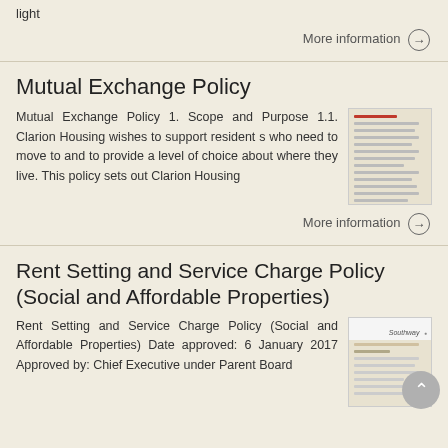light
More information →
Mutual Exchange Policy
Mutual Exchange Policy 1. Scope and Purpose 1.1. Clarion Housing wishes to support resident s who need to move to and to provide a level of choice about where they live. This policy sets out Clarion Housing
[Figure (illustration): Thumbnail preview of the Mutual Exchange Policy document]
More information →
Rent Setting and Service Charge Policy (Social and Affordable Properties)
Rent Setting and Service Charge Policy (Social and Affordable Properties) Date approved: 6 January 2017 Approved by: Chief Executive under Parent Board
[Figure (illustration): Thumbnail preview of the Rent Setting and Service Charge Policy document with Southway logo]